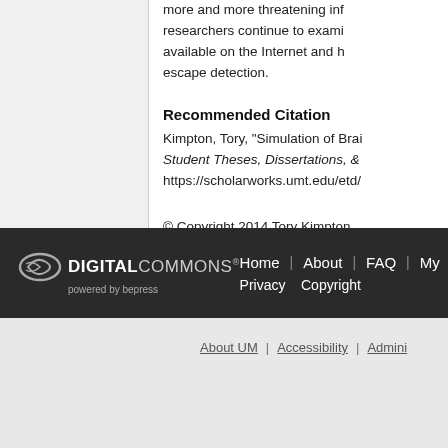more and more threatening information is becoming available on the Internet and how these threats can escape detection.
Recommended Citation
Kimpton, Tory, "Simulation of Brain..." Student Theses, Dissertations, & ... https://scholarworks.umt.edu/etd/...
© Copyright 2014 Tory Kimpton
DIGITAL COMMONS powered by bepress | Home | About | FAQ | My... | Privacy | Copyright
About UM | Accessibility | Admini...